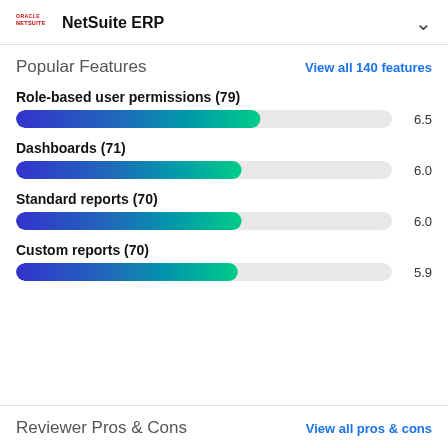NetSuite ERP
Popular Features
View all 140 features
Role-based user permissions (79)
[Figure (bar-chart): Role-based user permissions (79)]
Dashboards (71)
[Figure (bar-chart): Dashboards (71)]
Standard reports (70)
[Figure (bar-chart): Standard reports (70)]
Custom reports (70)
[Figure (bar-chart): Custom reports (70)]
Reviewer Pros & Cons
View all pros & cons